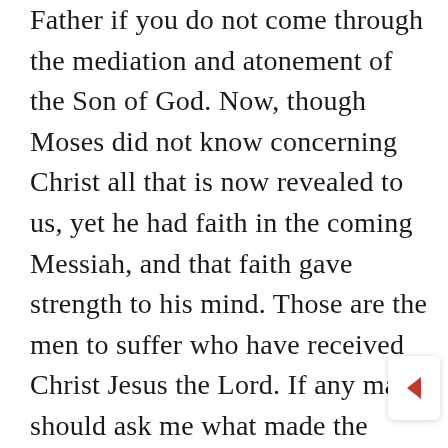Father if you do not come through the mediation and atonement of the Son of God. Now, though Moses did not know concerning Christ all that is now revealed to us, yet he had faith in the coming Messiah, and that faith gave strength to his mind. Those are the men to suffer who have received Christ Jesus the Lord. If any man should ask me what made the Covenanters such heroes as they were; what made our Puritanic forefathers fearless before their foes; what led the Reformers to protest and the martyrs to die; I would reply, it was faith in the